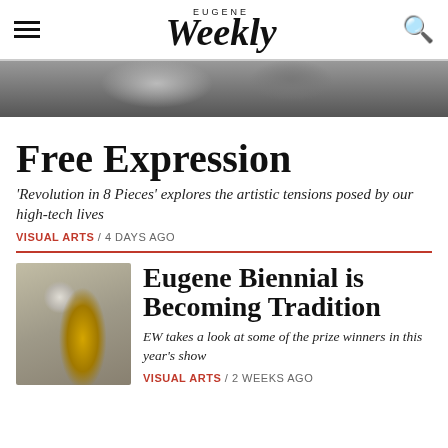EUGENE Weekly
[Figure (photo): Dark blurry photo strip showing figures in background, used as hero banner image]
Free Expression
'Revolution in 8 Pieces' explores the artistic tensions posed by our high-tech lives
VISUAL ARTS / 4 DAYS AGO
[Figure (photo): Photo of a yellow robotic arm sculpture mounted on a surface, displayed in gallery setting]
Eugene Biennial is Becoming Tradition
EW takes a look at some of the prize winners in this year's show
VISUAL ARTS / 2 WEEKS AGO